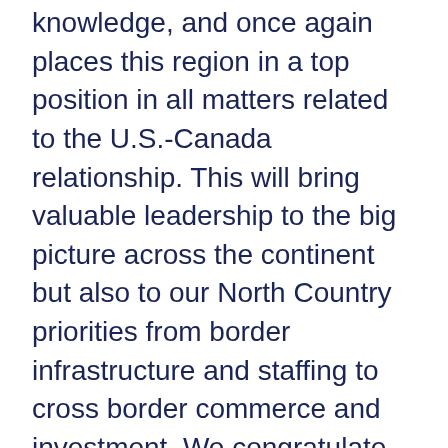knowledge, and once again places this region in a top position in all matters related to the U.S.-Canada relationship. This will bring valuable leadership to the big picture across the continent but also to our North Country priorities from border infrastructure and staffing to cross border commerce and investment. We congratulate her on this recognition and we thank her for taking on the leadership responsibilities. Onward and upward!"
The Northern Border Caucus will deal with issues and policies relating to trade, energy, transportation, immigration, the environment, and homeland security.